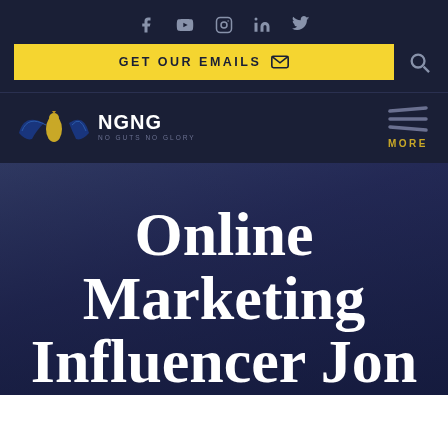[Figure (screenshot): Website header navigation with social media icons (Facebook, YouTube, Instagram, LinkedIn, Twitter), a yellow GET OUR EMAILS button with envelope icon, and a search icon on dark navy background]
[Figure (logo): NGNG (No Guts No Glory) logo with gold and blue bird/eagle wings icon on dark navy background, with MORE navigation button on the right]
Online Marketing Influencer Jon